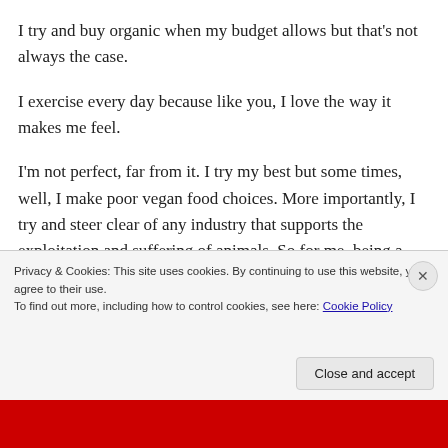I try and buy organic when my budget allows but that's not always the case.
I exercise every day because like you, I love the way it makes me feel.
I'm not perfect, far from it. I try my best but some times, well, I make poor vegan food choices. More importantly, I try and steer clear of any industry that supports the exploitation and suffering of animals. So for me, being a vegan
Privacy & Cookies: This site uses cookies. By continuing to use this website, you agree to their use.
To find out more, including how to control cookies, see here: Cookie Policy
Close and accept